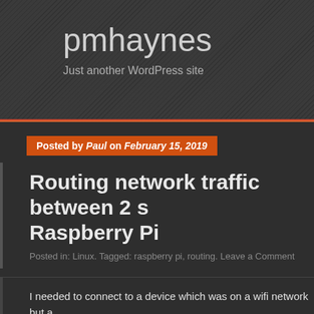pmhaynes
Just another WordPress site
Posted by Paul on February 15, 2019
Routing network traffic between 2 s… Raspberry Pi
Posted in: Linux. Tagged: raspberry pi, routing. Leave a Comment
I needed to connect to a device which was on a wifi network but a… local LAN
First easy setup was to add a wifi dongle to my PC and connect to… fine. I set a static IP with no default gateway and i could connect to…